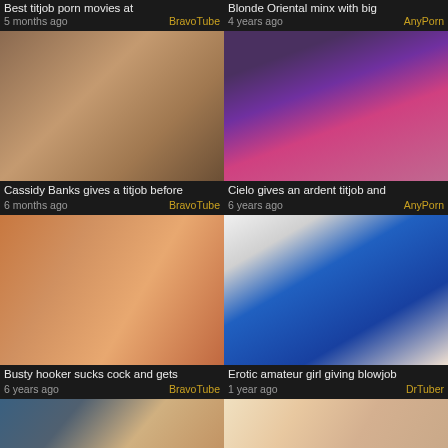Best titjob porn movies at
5 months ago  BravoTube
Blonde Oriental minx with big
4 years ago  AnyPorn
[Figure (photo): Woman giving titjob]
Cassidy Banks gives a titjob before
6 months ago  BravoTube
[Figure (photo): Woman in purple top and pink underwear]
Cielo gives an ardent titjob and
6 years ago  AnyPorn
[Figure (photo): Close-up sexual content]
Busty hooker sucks cock and gets
6 years ago  BravoTube
[Figure (photo): Woman in blue top]
Erotic amateur girl giving blowjob
1 year ago  DrTuber
[Figure (photo): Partial thumbnail bottom left]
[Figure (photo): Partial thumbnail bottom right]